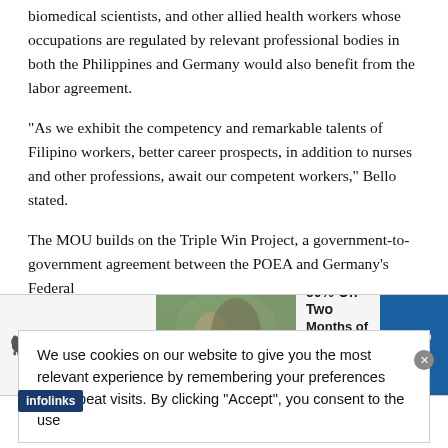biomedical scientists, and other allied health workers whose occupations are regulated by relevant professional bodies in both the Philippines and Germany would also benefit from the labor agreement.
"As we exhibit the competency and remarkable talents of Filipino workers, better career prospects, in addition to nurses and other professions, await our competent workers," Bello stated.
The MOU builds on the Triple Win Project, a government-to-government agreement between the POEA and Germany's Federal
We use cookies on our website to give you the most relevant experience by remembering your preferences and repeat visits. By clicking “Accept”, you consent to the use
[Figure (screenshot): SmartPak advertisement banner: SmartPak logo with horse icon on left, photo of woman with horse in center, text '50% Off Two Months of ColiCare - ColiCare Eligible Supplements - CODE: COLICARE10' on right, with blue 'Shop Now' button on far right.]